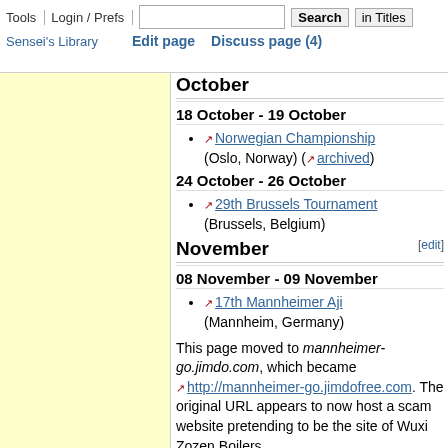Tools | Login / Prefs | Search | in Titles | Edit page | Discuss page (4) | Sensei's Library
October
18 October - 19 October
Norwegian Championship (Oslo, Norway) (archived)
24 October - 26 October
29th Brussels Tournament (Brussels, Belgium)
November
08 November - 09 November
17th Mannheimer Aji (Mannheim, Germany)
This page moved to mannheimer-go.jimdo.com, which became http://mannheimer-go.jimdofree.com. The original URL appears to now host a scam website pretending to be the site of Wuxi Zozen Boilers.